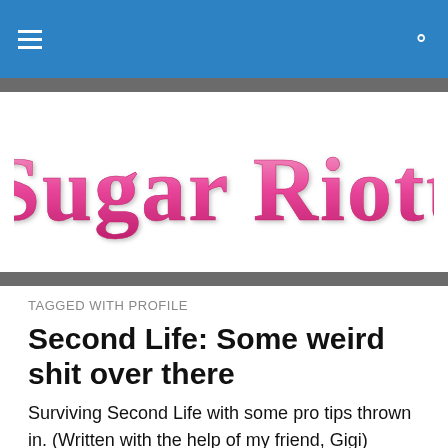Sugar Riot
TAGGED WITH PROFILE
Second Life: Some weird shit over there
Surviving Second Life with some pro tips thrown in. (Written with the help of my friend, Gigi) Second Life has been a social game that's been around for over a decade